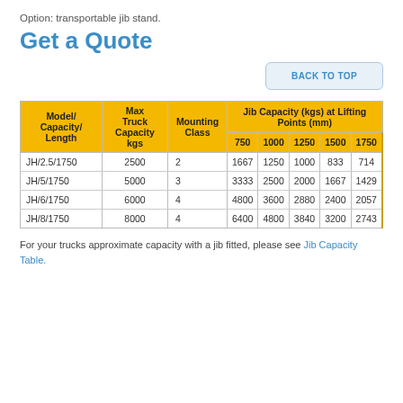Option: transportable jib stand.
Get a Quote
| Model/Capacity/Length | Max Truck Capacity kgs | Mounting Class | 750 | 1000 | 1250 | 1500 | 1750 |
| --- | --- | --- | --- | --- | --- | --- | --- |
| JH/2.5/1750 | 2500 | 2 | 1667 | 1250 | 1000 | 833 | 714 |
| JH/5/1750 | 5000 | 3 | 3333 | 2500 | 2000 | 1667 | 1429 |
| JH/6/1750 | 6000 | 4 | 4800 | 3600 | 2880 | 2400 | 2057 |
| JH/8/1750 | 8000 | 4 | 6400 | 4800 | 3840 | 3200 | 2743 |
For your trucks approximate capacity with a jib fitted, please see Jib Capacity Table.